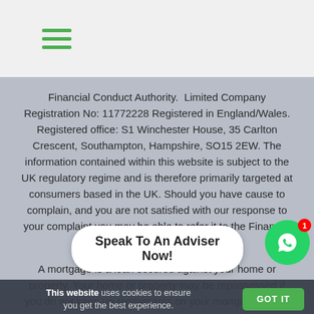Navigation menu (hamburger icon)
Financial Conduct Authority.  Limited Company Registration No: 11772228 Registered in England/Wales. Registered office: S1 Winchester House, 35 Carlton Crescent, Southampton, Hampshire, SO15 2EW. The information contained within this website is subject to the UK regulatory regime and is therefore primarily targeted at consumers based in the UK. Should you have cause to complain, and you are not satisfied with our response to your complaint you may be able to refer it to the Financial Ombudsman Service.
A mortgage is a loan secured against your home or property. Your home or property may be repossessed if you do not keep up repayments on your mortgage or any other debt secu...
Speak To An Adviser Now!
This website uses cookies to ensure you get the best experience.
GOT IT